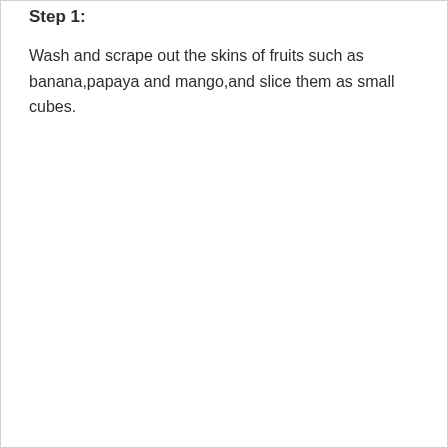Step 1:
Wash and scrape out the skins of fruits such as banana,papaya and mango,and slice them as small cubes.